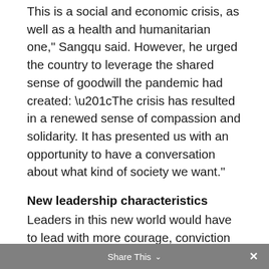This is a social and economic crisis, as well as a health and humanitarian one," Sangqu said. However, he urged the country to leverage the shared sense of goodwill the pandemic had created: “The crisis has resulted in a renewed sense of compassion and solidarity. It has presented us with an opportunity to have a conversation about what kind of society we want.”
New leadership characteristics
Leaders in this new world would have to lead with more courage, conviction and decisiveness, Sangqu continued.  “Neither government, business nor civil society have all the answers. We have to listen to all voices, with humility. We have been
Share This